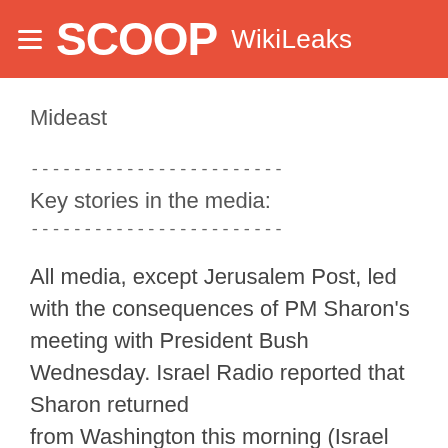SCOOP WikiLeaks
Mideast
------------------------
Key stories in the media:
------------------------
All media, except Jerusalem Post, led with the consequences of PM Sharon's meeting with President Bush Wednesday. Israel Radio reported that Sharon returned from Washington this morning (Israel Time). Israel Radio quoted senior GOI sources as saying that